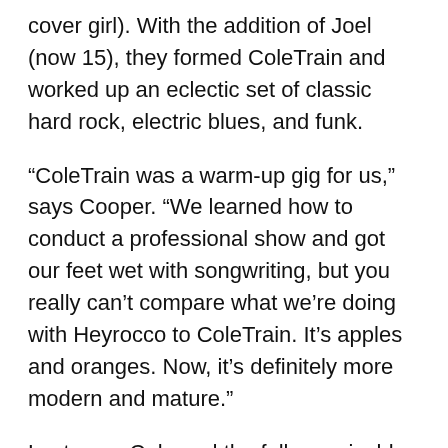cover girl). With the addition of Joel (now 15), they formed ColeTrain and worked up an eclectic set of classic hard rock, electric blues, and funk.
“ColeTrain was a warm-up gig for us,” says Cooper. “We learned how to conduct a professional show and got our feet wet with songwriting, but you really can’t compare what we’re doing with Heyrocco to ColeTrain. It’s apples and oranges. Now, it’s definitely more modern and mature.”
Last year, Cole and the fellas amicably came to a musical crossroads. She wanted to pursue blues-based material while they were determined to create their own more contemporary style.